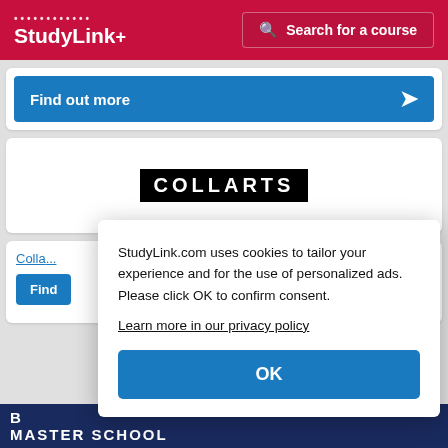[Figure (screenshot): StudyLink website header with logo on left and search button on right]
Find out more
[Figure (logo): COLLARTS logo — white text on black background]
Colla...
Find...
MASTER SCHOOL
StudyLink.com uses cookies to tailor your experience and for the use of personalized ads. Please click OK to confirm consent.
Learn more in our privacy policy
OK